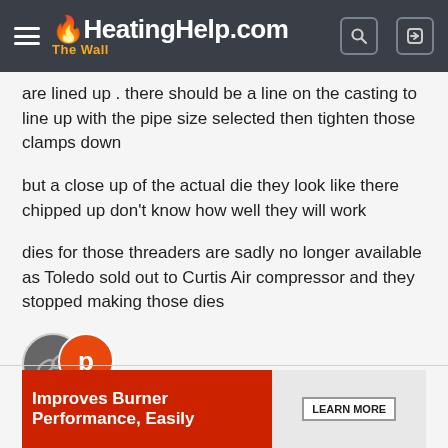HeatingHelp.com — The Wall
are lined up . there should be a line on the casting to line up with the pipe size selected then tighten those clamps down
but a close up of the actual die they look like there chipped up don't know how well they will work
dies for those threaders are sadly no longer available as Toledo sold out to Curtis Air compressor and they stopped making those dies
[Figure (illustration): Two user avatars: a dark circular avatar with a tool/chain image, and an orange circle with letter P, each with a thumbs-up reaction icon below]
[Figure (illustration): Advertisement banner: red background with text 'Improves Burner Performance, Easily' on left, and 'LEARN MORE' button on right with product image]